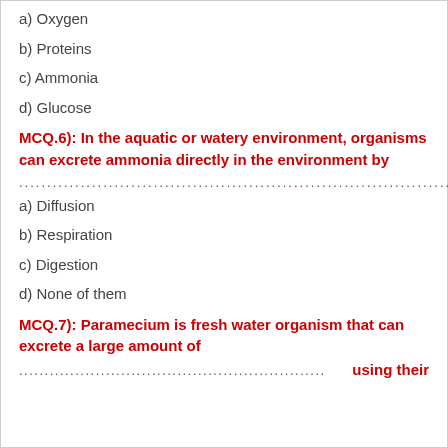a) Oxygen
b) Proteins
c) Ammonia
d) Glucose
MCQ.6): In the aquatic or watery environment, organisms can excrete ammonia directly in the environment by
................................................................
a) Diffusion
b) Respiration
c) Digestion
d) None of them
MCQ.7): Paramecium is fresh water organism that can excrete a large amount of
............................................ using their